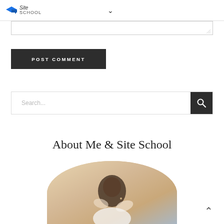Site School
[Figure (screenshot): Textarea input box with resize handle]
POST COMMENT
Search...
About Me & Site School
[Figure (photo): Woman with dark hair, circular cropped profile photo, partially visible]